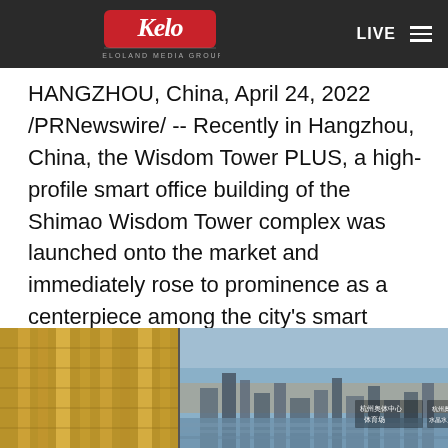KELOLAND Media Group — LIVE
HANGZHOU, China, April 24, 2022 /PRNewswire/ -- Recently in Hangzhou, China, the Wisdom Tower PLUS, a high-profile smart office building of the Shimao Wisdom Tower complex was launched onto the market and immediately rose to prominence as a centerpiece among the city's smart landmarks.
[Figure (photo): Two-panel image showing the Wisdom Tower building exterior (left panel with golden glass facade detail) and a cityscape of Hangzhou with waterfront and skyline at dusk/dawn (right panel), with Chinese text labels identifying landmarks including 杭州奥体中心体育场 and 杭州奥体中心水晶水上乐园.]